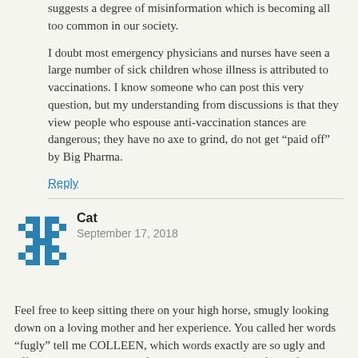suggests a degree of misinformation which is becoming all too common in our society.

I doubt most emergency physicians and nurses have seen a large number of sick children whose illness is attributed to vaccinations. I know someone who can post this very question, but my understanding from discussions is that they view people who espouse anti-vaccination stances are dangerous; they have no axe to grind, do not get “paid off” by Big Pharma.
Reply
[Figure (illustration): Blue pixel/mosaic style avatar icon for user Cat]
Cat
September 17, 2018
Feel free to keep sitting there on your high horse, smugly looking down on a loving mother and her experience. You called her words “fugly” tell me COLLEEN, which words exactly are so ugly and offensive to you? The truthful ones, that lay out the facts of her case? Cause it seems like you pulled this little rant out of your ass due to your hurt feelings being triggered, not because she actually said anything wrong. But you go ahead and you keep on blindly believing and doing what the